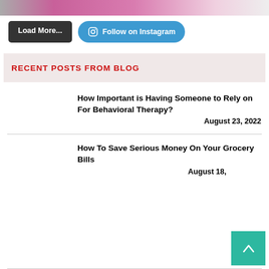[Figure (photo): Partial cropped photo showing a woman in a purple/magenta top at the top of the page]
Load More...
Follow on Instagram
RECENT POSTS FROM BLOG
How Important is Having Someone to Rely on For Behavioral Therapy?
August 23, 2022
How To Save Serious Money On Your Grocery Bills
August 18,